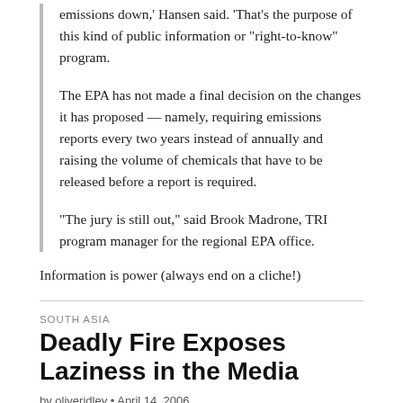emissions down,' Hansen said. 'That's the purpose of this kind of public information or “right-to-know” program.
The EPA has not made a final decision on the changes it has proposed — namely, requiring emissions reports every two years instead of annually and raising the volume of chemicals that have to be released before a report is required.
“The jury is still out,” said Brook Madrone, TRI program manager for the regional EPA office.
Information is power (always end on a cliche!)
SOUTH ASIA
Deadly Fire Exposes Laziness in the Media
by oliveridley • April 14, 2006
Deadly Fire Exposes Old Perils in New India – New York Times
The fire in this bustling but entirely provincial city, roughly 50 miles